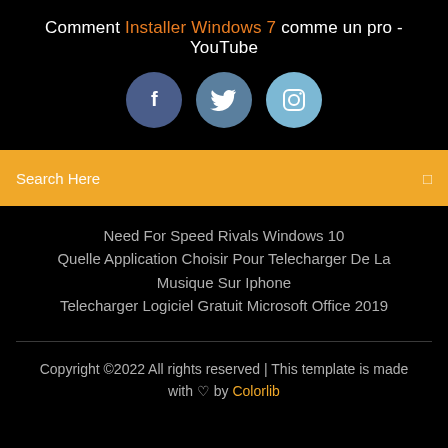Comment Installer Windows 7 comme un pro - YouTube
[Figure (other): Three social media icons: Facebook (dark blue circle with 'f'), Twitter (medium blue circle with bird icon), Instagram (light blue circle with camera icon)]
Search Here
Need For Speed Rivals Windows 10
Quelle Application Choisir Pour Telecharger De La Musique Sur Iphone
Telecharger Logiciel Gratuit Microsoft Office 2019
Copyright ©2022 All rights reserved | This template is made with ♡ by Colorlib